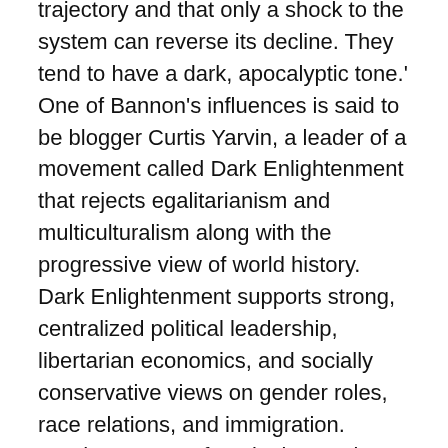trajectory and that only a shock to the system can reverse its decline. They tend to have a dark, apocalyptic tone.' One of Bannon's influences is said to be blogger Curtis Yarvin, a leader of a movement called Dark Enlightenment that rejects egalitarianism and multiculturalism along with the progressive view of world history. Dark Enlightenment supports strong, centralized political leadership, libertarian economics, and socially conservative views on gender roles, race relations, and immigration. Another Bannon favorite is Nassim Taleb, author of the 2014 book Antifragile, which proposes managing systems in a way that benefits from random events, errors, and volatility.
The term traditionalism crops up in the work of Italian philosopher Julius Evola (1898-1974). A recent New York Times article explored Bannon's fascination with Evola, 'a leading proponent of traditionalism, a worldview popular in